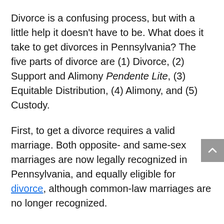Divorce is a confusing process, but with a little help it doesn't have to be. What does it take to get divorces in Pennsylvania? The five parts of divorce are (1) Divorce, (2) Support and Alimony Pendente Lite, (3) Equitable Distribution, (4) Alimony, and (5) Custody.
First, to get a divorce requires a valid marriage. Both opposite- and same-sex marriages are now legally recognized in Pennsylvania, and equally eligible for divorce, although common-law marriages are no longer recognized.
Equitable distribution is not equal distribution, but rather a “fair” distribution of all marital assets based on a number of factors, including but not limited to fault, and the parties contributions to the marriage and ability to support themselves